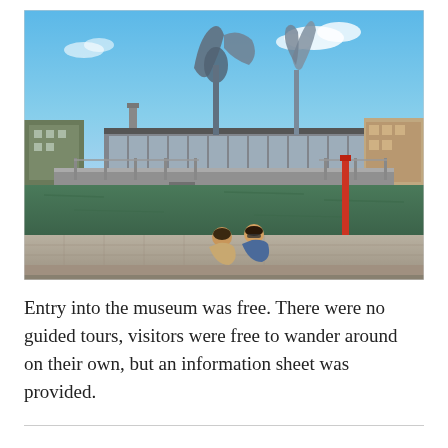[Figure (photo): Outdoor waterfront scene showing a pedestrian bridge over a river with a modern building featuring a distinctive curved sculpture in the background. Two shirtless people sit on a stone quay in the foreground on a sunny day.]
Entry into the museum was free. There were no guided tours, visitors were free to wander around on their own, but an information sheet was provided.